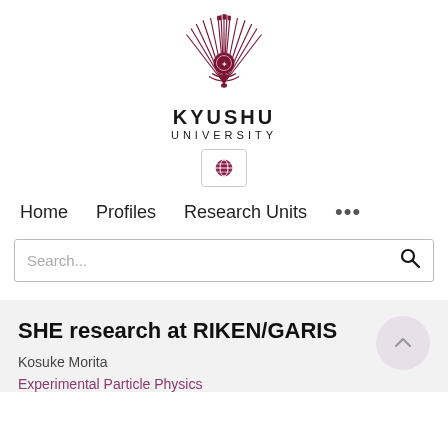[Figure (logo): Kyushu University emblem/logo — stylized phoenix/fan design in dark red/maroon with castle battlements at top]
KYUSHU
UNIVERSITY
[Figure (other): Globe/language selector button]
Home   Profiles   Research Units   ...
Search...
SHE research at RIKEN/GARIS
Kosuke Morita
Experimental Particle Physics